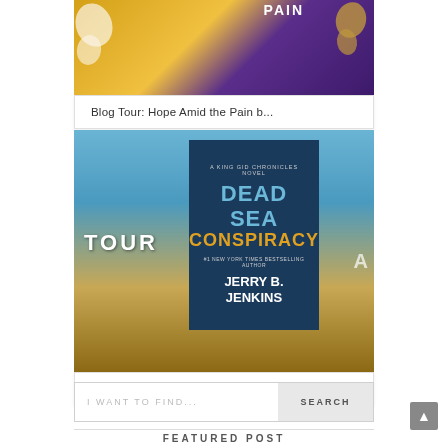[Figure (photo): Book cover collage for 'Hope Amid the Pain' showing gold and purple backgrounds with butterfly motifs]
Blog Tour: Hope Amid the Pain b...
[Figure (photo): Blog tour image for 'Dead Sea Conspiracy' by Jerry B. Jenkins featuring book cover against a Dead Sea landscape background with 'TOUR' text]
Blog Tour & Excerpt: Dead Sea C...
I WANT TO FIND...
SEARCH
FEATURED POST